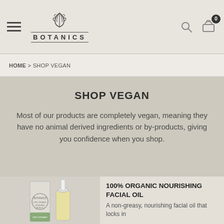BOTANICS
HOME > SHOP VEGAN
SHOP VEGAN
Most of our products are completely vegan, meaning they have no animal derived ingredients or by-products, giving you confidence when you shop.
[Figure (photo): Product photo showing Botanics 100% Organic Nourishing Facial Oil bottle and dropper with green label]
100% ORGANIC NOURISHING FACIAL OIL
A non-greasy, nourishing facial oil that locks in